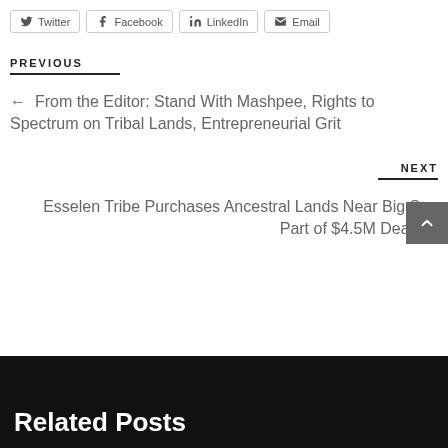Twitter | Facebook | LinkedIn | Email
PREVIOUS
← From the Editor: Stand With Mashpee, Rights to Spectrum on Tribal Lands, Entrepreneurial Grit
NEXT
Esselen Tribe Purchases Ancestral Lands Near Big Sur, Part of $4.5M Deal →
Related Posts